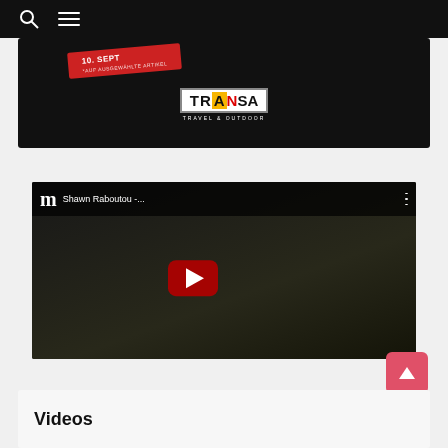[Figure (screenshot): Website navigation bar with search icon and hamburger menu icon on black background]
[Figure (screenshot): TRANSA Travel & Outdoor advertisement card showing red promotional tag with '10. SEPT' and TRANSA logo on dark background]
[Figure (screenshot): YouTube embedded video thumbnail showing 'Shawn Raboutou -...' with red play button on dark background with climbing action image]
Videos